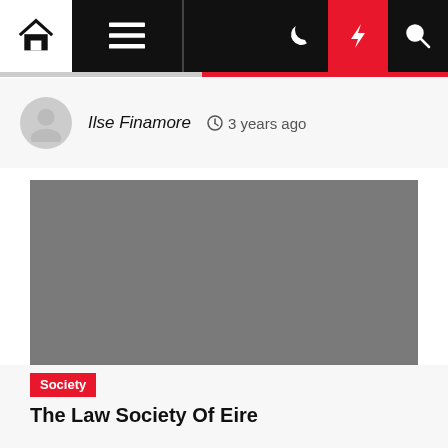Navigation bar with home, menu, moon, lightning, and search icons
Ilse Finamore  3 years ago
[Figure (photo): Grey placeholder image for an article about The Law Society Of Eire]
Society
The Law Society Of Eire